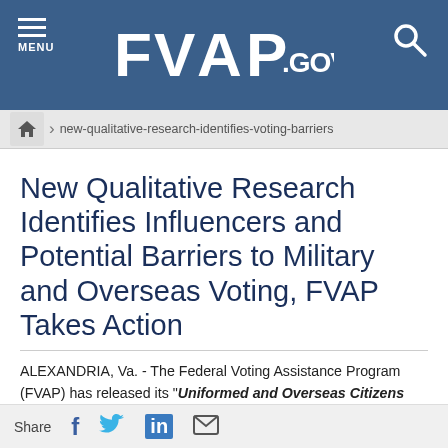FVAP.GOV
new-qualitative-research-identifies-voting-barriers
New Qualitative Research Identifies Influencers and Potential Barriers to Military and Overseas Voting, FVAP Takes Action
ALEXANDRIA, Va. - The Federal Voting Assistance Program (FVAP) has released its "Uniformed and Overseas Citizens Absentee Voting Act Voting: Successes and Challenges" report, which identifies factors that can influence voting success and points out potential barriers to military members and overseas citizen voters.  FVAP conducted extensive research that included in-depth interviews, ethnographies and focus groups with various stakeholders.  Based
Share